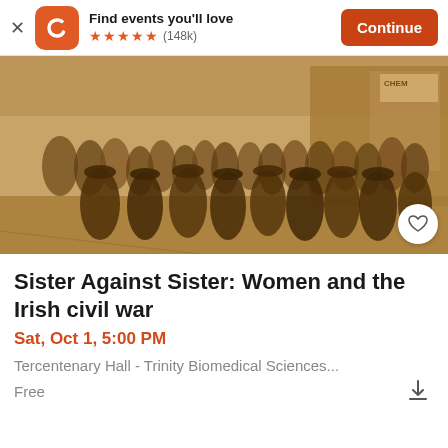Find events you'll love ★★★★★ (148k) Continue
[Figure (photo): Black and white / sepia historical photograph of a large crowd of women marching down a street, circa early 20th century Ireland. Buildings including a chemist shop are visible in the background.]
Sister Against Sister: Women and the Irish civil war
Sat, Oct 1, 5:00 PM
Tercentenary Hall - Trinity Biomedical Sciences...
Free